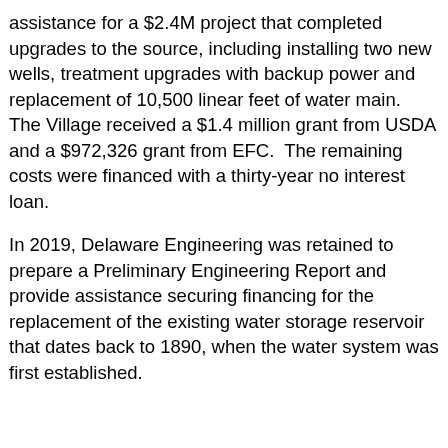assistance for a $2.4M project that completed upgrades to the source, including installing two new wells, treatment upgrades with backup power and replacement of 10,500 linear feet of water main.  The Village received a $1.4 million grant from USDA and a $972,326 grant from EFC.  The remaining costs were financed with a thirty-year no interest loan.
In 2019, Delaware Engineering was retained to prepare a Preliminary Engineering Report and provide assistance securing financing for the replacement of the existing water storage reservoir that dates back to 1890, when the water system was first established.